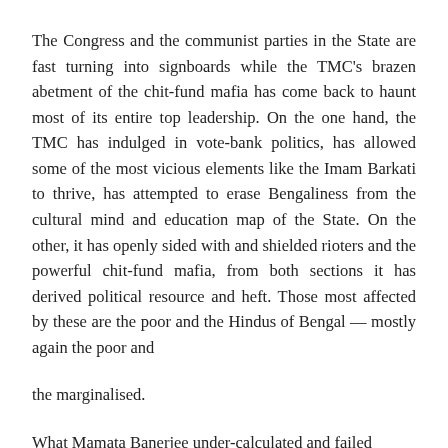The Congress and the communist parties in the State are fast turning into signboards while the TMC's brazen abetment of the chit-fund mafia has come back to haunt most of its entire top leadership. On the one hand, the TMC has indulged in vote-bank politics, has allowed some of the most vicious elements like the Imam Barkati to thrive, has attempted to erase Bengaliness from the cultural mind and education map of the State. On the other, it has openly sided with and shielded rioters and the powerful chit-fund mafia, from both sections it has derived political resource and heft. Those most affected by these are the poor and the Hindus of Bengal — mostly again the poor and
the marginalised.
What Mamata Banerjee under-calculated and failed